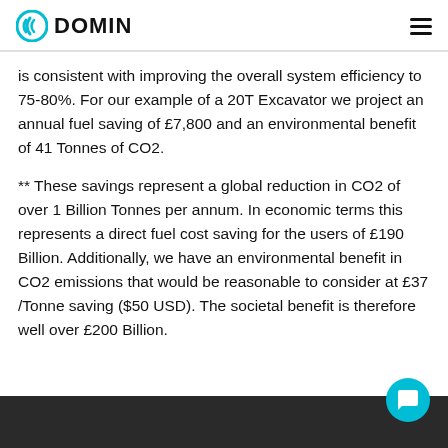DOMIN
is consistent with improving the overall system efficiency to 75-80%. For our example of a 20T Excavator we project an annual fuel saving of £7,800 and an environmental benefit of 41 Tonnes of CO2.
** These savings represent a global reduction in CO2 of over 1 Billion Tonnes per annum. In economic terms this represents a direct fuel cost saving for the users of £190 Billion. Additionally, we have an environmental benefit in CO2 emissions that would be reasonable to consider at £37 /Tonne saving ($50 USD). The societal benefit is therefore well over £200 Billion.